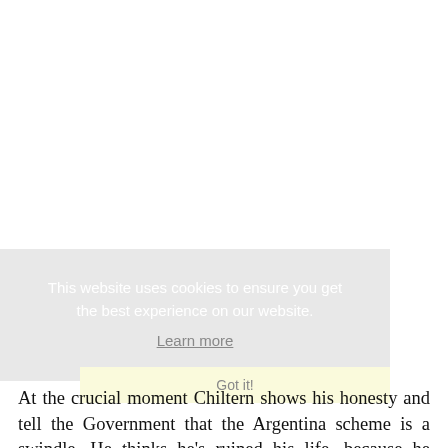[Figure (screenshot): Cookie consent banner overlay on a grey background with white text reading 'This website uses cookies to ensure you get the best experience on our website.' and a 'Learn more' link, plus a 'Got it!' button on a light yellow background.]
At the crucial moment Chiltern shows his honesty and tell the Government that the Argentina scheme is a swindle. He thinks he's ruined his life, because he doesn't know that he's safe thanks to lord Goring, but then Goring and